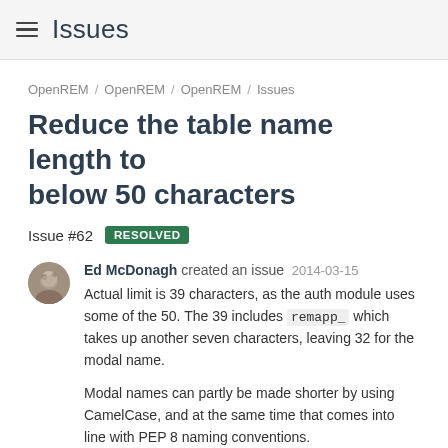Issues
OpenREM / OpenREM / OpenREM / Issues
Reduce the table name length to below 50 characters
Issue #62  RESOLVED
Ed McDonagh created an issue 2014-03-15
Actual limit is 39 characters, as the auth module uses some of the 50. The 39 includes remapp_ which takes up another seven characters, leaving 32 for the modal name.
Modal names can partly be made shorter by using CamelCase, and at the same time that comes into line with PEP 8 naming conventions.
Some will also need to be abbreviated.